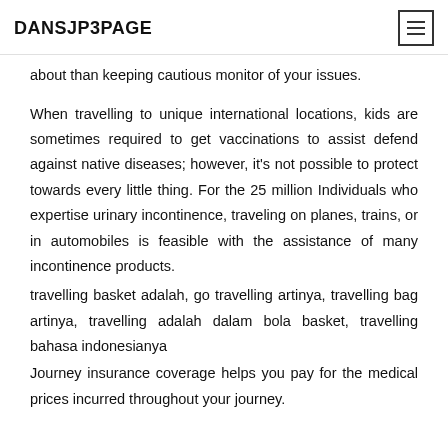DANSJP3PAGE
about than keeping cautious monitor of your issues.
When travelling to unique international locations, kids are sometimes required to get vaccinations to assist defend against native diseases; however, it's not possible to protect towards every little thing. For the 25 million Individuals who expertise urinary incontinence, traveling on planes, trains, or in automobiles is feasible with the assistance of many incontinence products.
travelling basket adalah, go travelling artinya, travelling bag artinya, travelling adalah dalam bola basket, travelling bahasa indonesianya
Journey insurance coverage helps you pay for the medical prices incurred throughout your journey.